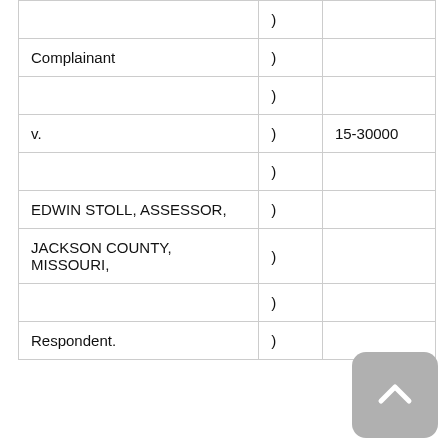|  | ) |  |
| --- | --- | --- |
| Complainant | ) |  |
|  | ) |  |
| v. | ) | 15-30000 |
|  | ) |  |
| EDWIN STOLL, ASSESSOR, | ) |  |
| JACKSON COUNTY, MISSOURI, | ) |  |
|  | ) |  |
| Respondent. | ) |  |